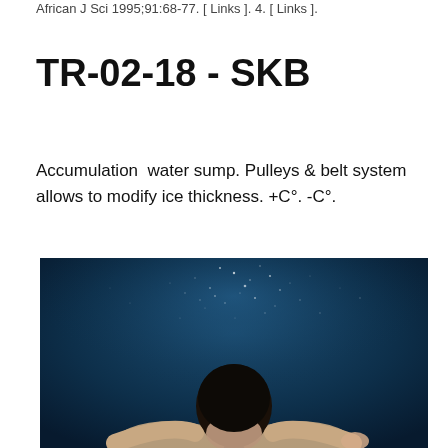African J Sci 1995;91:68-77. [ Links ]. 4. [ Links ].
TR-02-18 - SKB
Accumulation  water sump. Pulleys & belt system allows to modify ice thickness. +C°. -C°.
[Figure (photo): Underwater photograph showing a person swimming or diving, viewed from above. The water is dark blue with scattered bubbles and light particles. The person's head and upper body are visible near the bottom of the frame, seen from behind.]